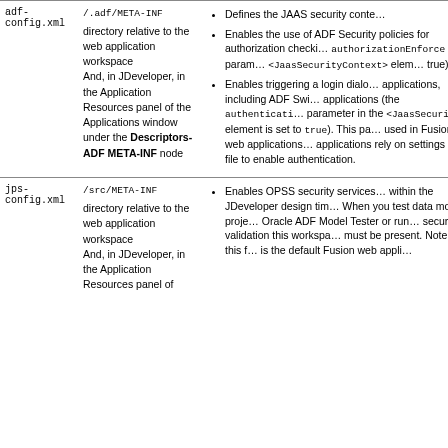| File | Location | Description |
| --- | --- | --- |
| adf-config.xml | /.adf/META-INF directory relative to the web application workspace
And, in JDeveloper, in the Application Resources panel of the Applications window under the Descriptors-ADF META-INF node | Defines the JAAS security context...
Enables the use of ADF Security policies for authorization checking...
Enables triggering a login dialog for applications, including ADF Swing applications... |
| jps-config.xml | /src/META-INF directory relative to the web application workspace
And, in JDeveloper, in the Application Resources panel of | Enables OPSS security services within the JDeveloper design time. When you test data model projects in Oracle ADF Model Tester or run security validation this workspace must be present. Note that this file is the default Fusion web... |